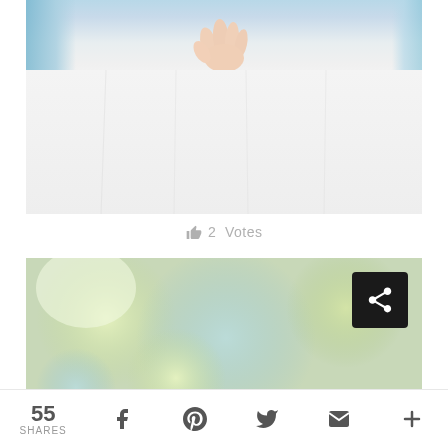[Figure (photo): Close-up photo of hands holding a small green flower bouquet, wearing a white dress with blue fabric on sides]
2 👍 Votes
[Figure (photo): Blurry bokeh photo of green and blue outdoor scene, with black share button overlay in top right corner]
55 SHARES | Facebook | Pinterest | Twitter | Email | More